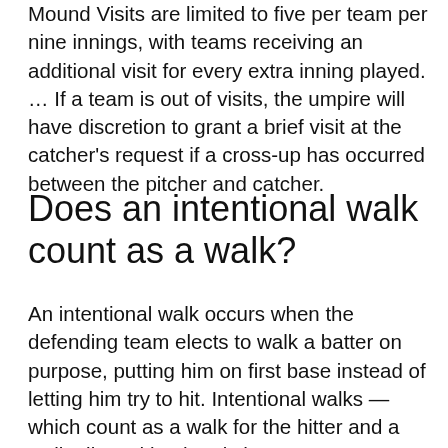Mound Visits are limited to five per team per nine innings, with teams receiving an additional visit for every extra inning played. … If a team is out of visits, the umpire will have discretion to grant a brief visit at the catcher's request if a cross-up has occurred between the pitcher and catcher.
Does an intentional walk count as a walk?
An intentional walk occurs when the defending team elects to walk a batter on purpose, putting him on first base instead of letting him try to hit. Intentional walks — which count as a walk for the hitter and a walk allowed by the pitcher — are an important strategy in the context of a game